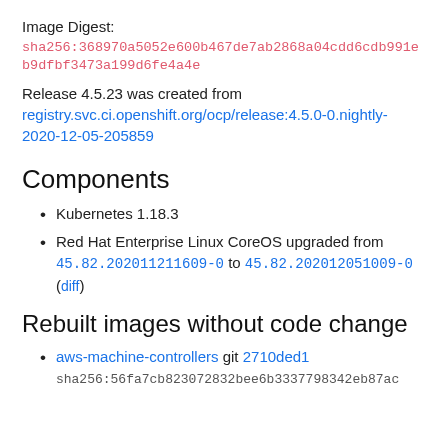Image Digest:
sha256:368970a5052e600b467de7ab2868a04cdd6cdb991eb9dfbf3473a199d6fe4a4e
Release 4.5.23 was created from registry.svc.ci.openshift.org/ocp/release:4.5.0-0.nightly-2020-12-05-205859
Components
Kubernetes 1.18.3
Red Hat Enterprise Linux CoreOS upgraded from 45.82.202011211609-0 to 45.82.202012051009-0 (diff)
Rebuilt images without code change
aws-machine-controllers git 2710ded1
sha256:56fa7cb823072832bee6b3337798342eb87ac